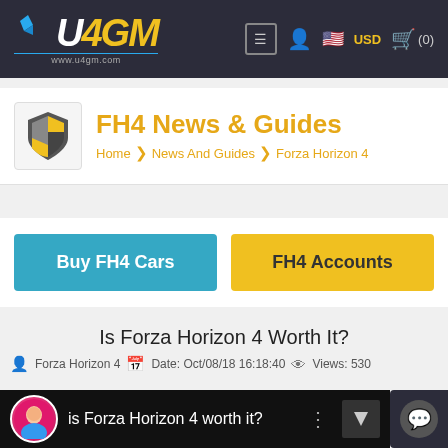U4GM www.u4gm.com — USD (0)
FH4 News & Guides
Home › News And Guides › Forza Horizon 4
Buy FH4 Cars
FH4 Accounts
Is Forza Horizon 4 Worth It?
Forza Horizon 4   Date: Oct/08/18 16:18:40   Views: 5300
[Figure (screenshot): YouTube video thumbnail with title 'is Forza Horizon 4 worth it?' and a circular avatar of a person on a pink background]
[Figure (illustration): Bottom banner with yellow decorative pattern on dark background]